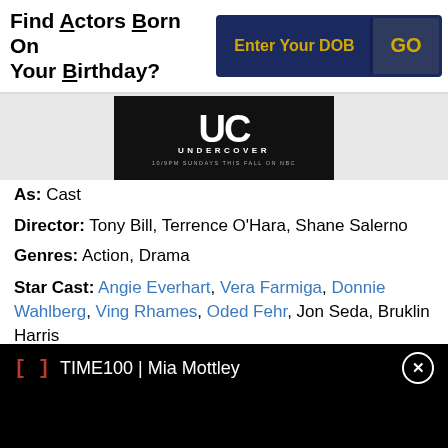Find Actors Born On Your Birthday?
[Figure (screenshot): UC Undercover TV show promotional image with logo and tagline '10/9PM SUNDAYS THIS FALL ON NBC']
As: Cast
Director: Tony Bill, Terrence O'Hara, Shane Salerno
Genres: Action, Drama
Star Cast: Angie Everhart, Vera Farmiga, Donnie Wahlberg, Ving Rhames, Oded Fehr, Jon Seda, Bruklin Harris
TIME100 | Mia Mottley